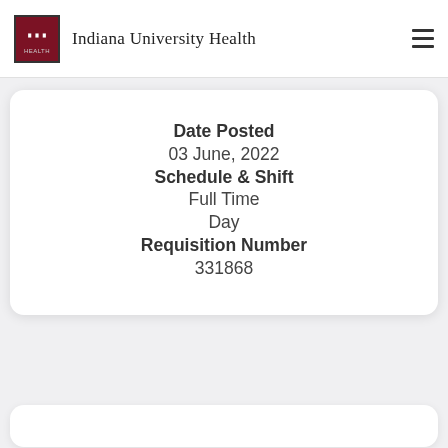Indiana University Health
Date Posted
03 June, 2022
Schedule & Shift
Full Time
Day
Requisition Number
331868